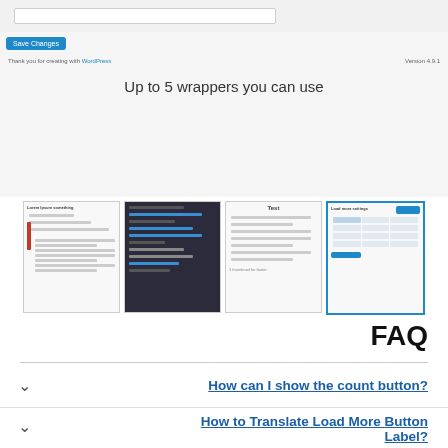[Figure (screenshot): WordPress admin panel screenshot showing an input field, a Save Changes button, and a thank you footer with WordPress link and version number. Text overlay: 'Up to 5 wrappers you can use']
[Figure (screenshot): Row of four document/plugin thumbnails showing different plugin views: a text document, a code editor, a list view, and a settings/table view (selected with blue border)]
FAQ
How can I show the count button?
How to Translate Load More Button Label?
How I use this